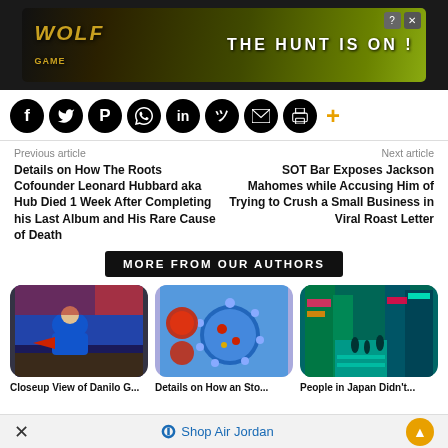[Figure (screenshot): Wolf Game advertisement banner: 'THE HUNT IS ON!']
[Figure (infographic): Social media share buttons row: Facebook, Twitter, Pinterest, WhatsApp, LinkedIn, Reddit, Email, Print, and a plus icon]
Previous article
Next article
Details on How The Roots Cofounder Leonard Hubbard aka Hub Died 1 Week After Completing his Last Album and His Rare Cause of Death
SOT Bar Exposes Jackson Mahomes while Accusing Him of Trying to Crush a Small Business in Viral Roast Letter
MORE FROM OUR AUTHORS
[Figure (photo): Closeup view of a wrestling athlete in blue uniform bending forward]
Closeup View of Danilo G...
[Figure (photo): Microscopic view of coronavirus/virus particles, blue and red]
Details on How an Sto...
[Figure (photo): People walking in a neon-lit city street in Japan with teal/cyan color tone]
People in Japan Didn't...
Shop Air Jordan